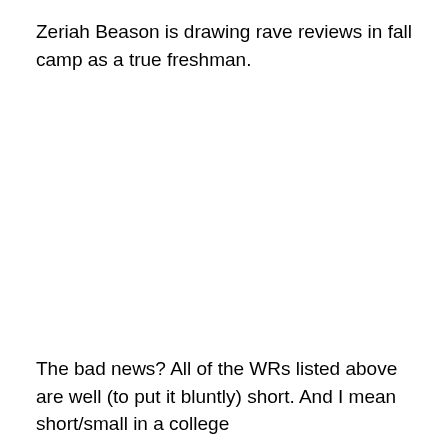Zeriah Beason is drawing rave reviews in fall camp as a true freshman.
The bad news? All of the WRs listed above are well (to put it bluntly) short. And I mean short/small in a college